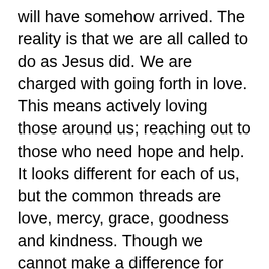will have somehow arrived. The reality is that we are all called to do as Jesus did. We are charged with going forth in love. This means actively loving those around us; reaching out to those who need hope and help. It looks different for each of us, but the common threads are love, mercy, grace, goodness and kindness. Though we cannot make a difference for everyone, we can have a positive impact on the people whom we encounter;one person at a time. Sometimes it is as simple as a smile or an encouraging word, whereas other times there may be more action required. God is faithful to meet us and show us how to love each person we encounter with His heart. It is up to us to seek